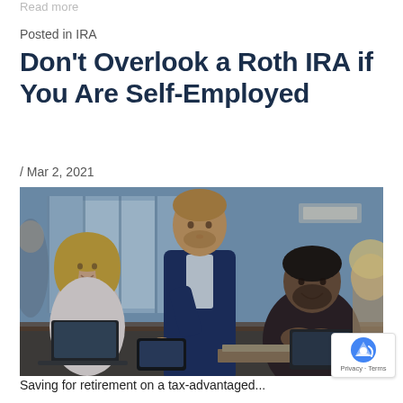Read more
Posted in IRA
Don't Overlook a Roth IRA if You Are Self-Employed
/ Mar 2, 2021
[Figure (photo): Three business professionals in an office setting — a woman with blonde hair on the left, a man in a navy suit standing and leaning over in the center, and a man in a dark suit on the right — gathered around a table with laptops and documents, appearing to review information together. Glass walls of an office are visible in the background.]
Saving for retirement on a tax-advantaged...